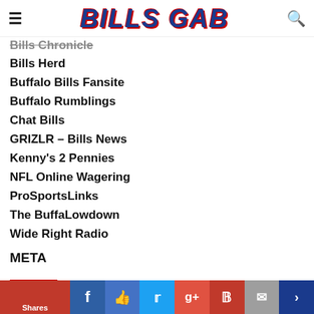BILLS GAB
Bills Chronicle
Bills Herd
Buffalo Bills Fansite
Buffalo Rumblings
Chat Bills
GRIZLR – Bills News
Kenny's 2 Pennies
NFL Online Wagering
ProSportsLinks
The BuffaLowdown
Wide Right Radio
META
Log in
Entries feed
Comments feed
WordPress.org
MORE IN GAME PREVIEWS